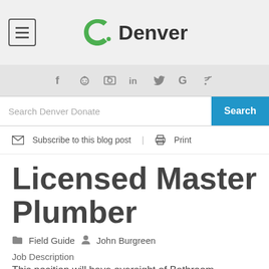Denver
[Figure (logo): Denver city logo with green 'C!' icon and 'Denver' text in bold]
[Figure (infographic): Social media icons: Facebook, Reddit, Flickr, LinkedIn, Twitter, Google, RSS]
Search Denver Donate
Subscribe to this blog post | Print
Licensed Master Plumber
Field Guide  John Burgreen
Job Description
This position will have oversight of Bathroom installation projects throughout region